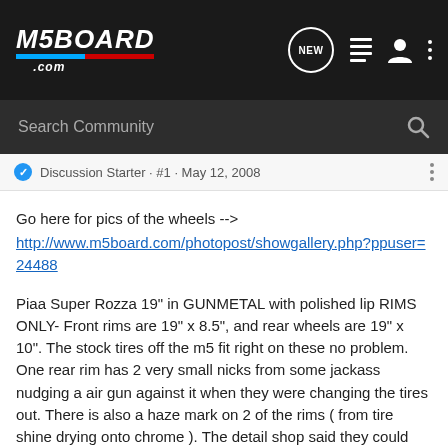M5BOARD.COM — top navigation bar with logo, NEW, list, user, and dots icons
Search Community
Discussion Starter · #1 · May 12, 2008
Go here for pics of the wheels -->
http://www.m5board.com/photopost/showgallery.php?ppuser=24488
Piaa Super Rozza 19" in GUNMETAL with polished lip RIMS ONLY- Front rims are 19" x 8.5", and rear wheels are 19" x 10". The stock tires off the m5 fit right on these no problem. One rear rim has 2 very small nicks from some jackass nudging a air gun against it when they were changing the tires out. There is also a haze mark on 2 of the rims ( from tire shine drying onto chrome ). The detail shop said they could get them out with a buff and wax. I will email pics per request. NO TIRES.
Make me an offer everyone, the rims are gonna cost about